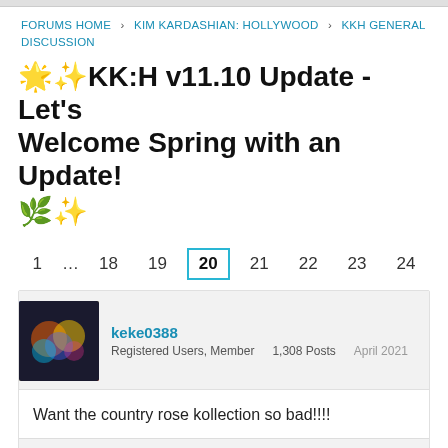FORUMS HOME > KIM KARDASHIAN: HOLLYWOOD > KKH GENERAL DISCUSSION
🌟✨KK:H v11.10 Update - Let's Welcome Spring with an Update! 🌿✨
1 … 18 19 20 21 22 23 24
keke0388
Registered Users, Member    1,308 Posts    April 2021
Want the country rose kollection so bad!!!!